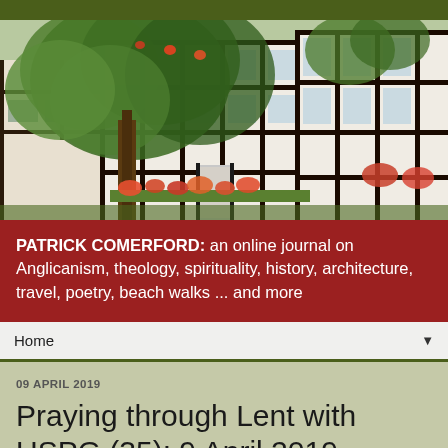[Figure (photo): Photograph of Tudor-style black-and-white timber-framed buildings with lush green tree and flowering plants in front, colourful flower boxes on windowsills]
PATRICK COMERFORD: an online journal on Anglicanism, theology, spirituality, history, architecture, travel, poetry, beach walks ... and more
Home ▼
09 APRIL 2019
Praying through Lent with USPG (35): 9 April 2019